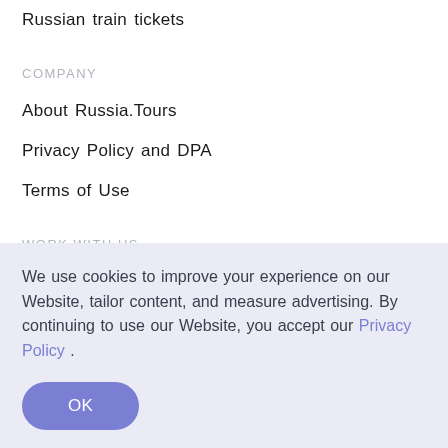Russian train tickets
COMPANY
About Russia.Tours
Privacy Policy and DPA
Terms of Use
WORK WITH US
We use cookies to improve your experience on our Website, tailor content, and measure advertising. By continuing to use our Website, you accept our Privacy Policy .
OK